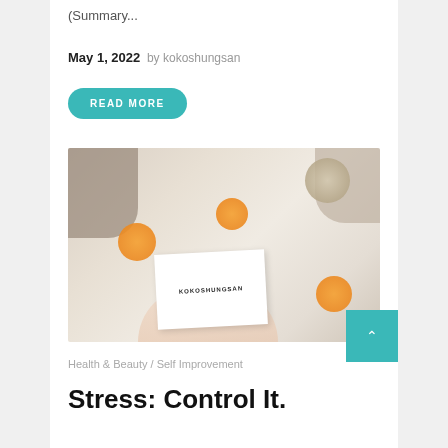(Summary...
May 1, 2022  by kokoshungsan
READ MORE
[Figure (photo): Overhead flat lay photo of natural items including dried orange slices, walnuts, cotton flowers, twine spool, knit fabric, pine cone, cinnamon sticks and pampas grass, with hands holding a white card labeled KOKOSHUNGSAN]
Health & Beauty / Self Improvement
Stress: Control It.